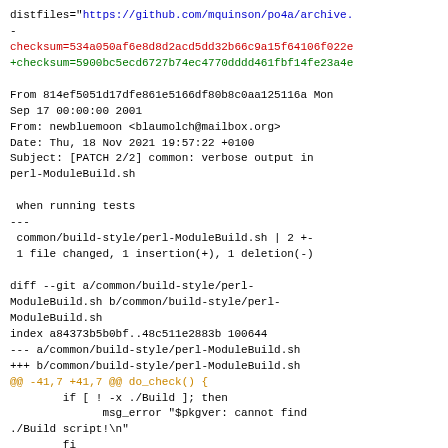distfiles="https://github.com/mquinson/po4a/archive.
-
checksum=534a050af6e8d8d2acd5dd32b66c9a15f64106f022...
+checksum=5900bc5ecd6727b74ec4770dddd461fbf14fe23a4...

From 814ef5051d17dfe861e5166df80b8c0aa125116a Mon
Sep 17 00:00:00 2001
From: newbluemoon <blaumolch@mailbox.org>
Date: Thu, 18 Nov 2021 19:57:22 +0100
Subject: [PATCH 2/2] common: verbose output in
perl-ModuleBuild.sh

 when running tests
---
 common/build-style/perl-ModuleBuild.sh | 2 +-
 1 file changed, 1 insertion(+), 1 deletion(-)

diff --git a/common/build-style/perl-
ModuleBuild.sh b/common/build-style/perl-
ModuleBuild.sh
index a84373b5b0bf..48c511e2883b 100644
--- a/common/build-style/perl-ModuleBuild.sh
+++ b/common/build-style/perl-ModuleBuild.sh
@@ -41,7 +41,7 @@ do_check() {
        if [ ! -x ./Build ]; then
              msg_error "$pkgver: cannot find
./Build script!\n"
        fi
-       ./Build test